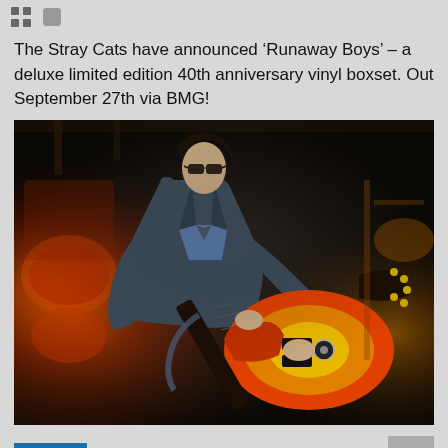The Stray Cats have announced ‘Runaway Boys’ – a deluxe limited edition 40th anniversary vinyl boxset. Out September 27th via BMG!
[Figure (photo): A guitarist wearing sunglasses and a dark suit jacket with a blue shirt, playing a red and yellow sunburst Les Paul guitar on stage with stage lighting and drum kit visible in the background.]
NEWS